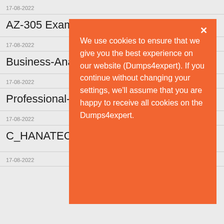17-08-2022
AZ-305 Exam D
17-08-2022
Business-Analy
17-08-2022
Professional-C
17-08-2022
C_HANATEC_17 Exam Dumps
17-08-2022
We use cookies to ensure that we give you the best experience on our website (Dumps4expert). If you continue without changing your settings, we'll assume that you are happy to receive all cookies on the Dumps4expert.